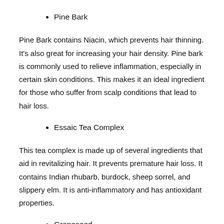Pine Bark
Pine Bark contains Niacin, which prevents hair thinning. It's also great for increasing your hair density. Pine bark is commonly used to relieve inflammation, especially in certain skin conditions. This makes it an ideal ingredient for those who suffer from scalp conditions that lead to hair loss.
Essaic Tea Complex
This tea complex is made up of several ingredients that aid in revitalizing hair. It prevents premature hair loss. It contains Indian rhubarb, burdock, sheep sorrel, and slippery elm. It is anti-inflammatory and has antioxidant properties.
Grapeseed
Grapeseed is excellent for restoring the shiny and vibrant appearance